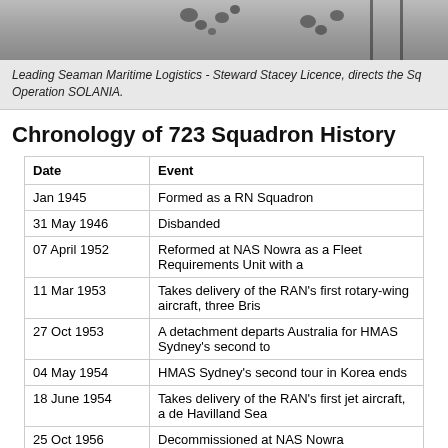[Figure (photo): Partial view of a photograph showing military/naval personnel, cropped at top]
Leading Seaman Maritime Logistics - Steward Stacey Licence, directs the Sq Operation SOLANIA.
Chronology of 723 Squadron History
| Date | Event |
| --- | --- |
| Jan 1945 | Formed as a RN Squadron |
| 31 May 1946 | Disbanded |
| 07 April 1952 | Reformed at NAS Nowra as a Fleet Requirements Unit with a |
| 11 Mar 1953 | Takes delivery of the RAN's first rotary-wing aircraft, three Bris |
| 27 Oct 1953 | A detachment departs Australia for HMAS Sydney's second to |
| 04 May 1954 | HMAS Sydney's second tour in Korea ends |
| 18 June 1954 | Takes delivery of the RAN's first jet aircraft, a de Havilland Sea |
| 25 Oct 1956 | Decommissioned at NAS Nowra |
| 18 Feb 1957 | Recommissioned at NAS Nowra flying Sycamores, Auster J5- |
| Nov 1962 | 723 Squadron becomes an all-helicopter squadron |
| 18 Apr 1963 | Takes delivery of first Westland Scout helicopters |